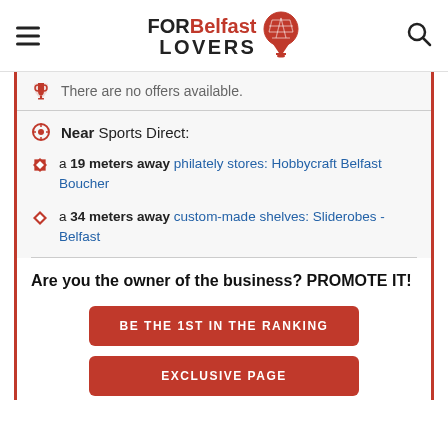FOR Belfast LOVERS
There are no offers available.
Near Sports Direct:
a 19 meters away philately stores: Hobbycraft Belfast Boucher
a 34 meters away custom-made shelves: Sliderobes - Belfast
Are you the owner of the business? PROMOTE IT!
BE THE 1ST IN THE RANKING
EXCLUSIVE PAGE